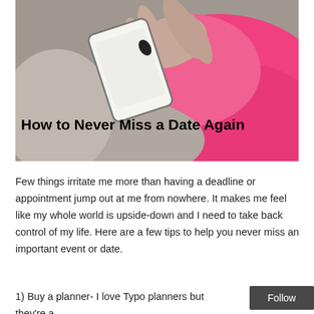[Figure (photo): Woman in pink coat holding a smartphone, tapping the screen. Photo is used as header image for blog post.]
How to Never Miss a Date Again
Few things irritate me more than having a deadline or appointment jump out at me from nowhere. It makes me feel like my whole world is upside-down and I need to take back control of my life. Here are a few tips to help you never miss an important event or date.
1) Buy a planner- I love Typo planners but they're a